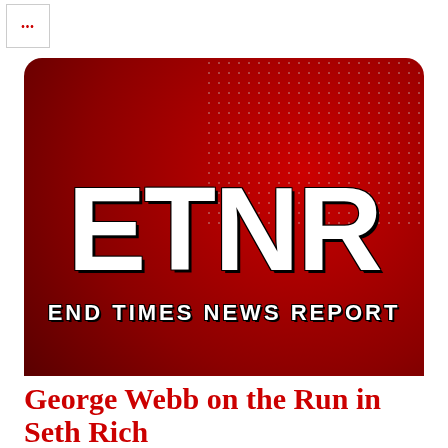[Figure (logo): Small ETNR logo thumbnail with red dots in top-left corner]
[Figure (logo): ETNR End Times News Report logo on dark red background with white bold letters and dot pattern overlay]
George Webb on the Run in Seth Rich